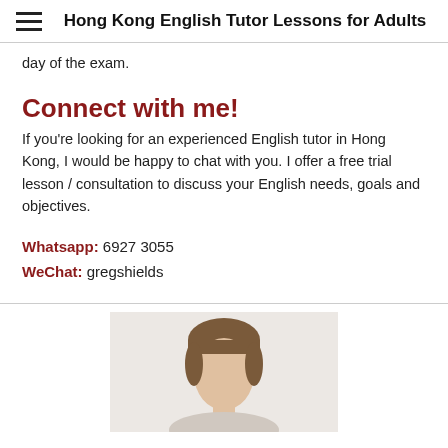Hong Kong English Tutor Lessons for Adults
day of the exam.
Connect with me!
If you're looking for an experienced English tutor in Hong Kong, I would be happy to chat with you. I offer a free trial lesson / consultation to discuss your English needs, goals and objectives.
Whatsapp: 6927 3055
WeChat: gregshields
[Figure (photo): Portrait photo of a person (appears to be a man with brown hair), cropped to show head and upper body against a light background.]